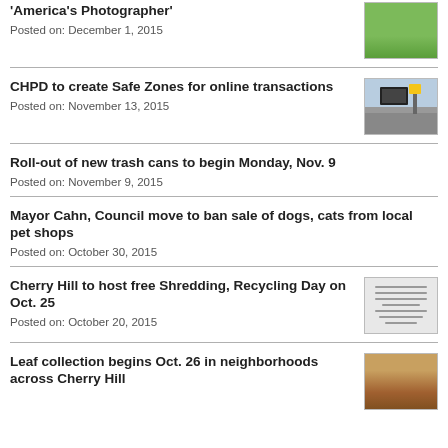'America's Photographer'
Posted on: December 1, 2015
[Figure (photo): Thumbnail photo of grass/outdoor scene]
CHPD to create Safe Zones for online transactions
Posted on: November 13, 2015
[Figure (photo): Thumbnail photo of street with car and sign]
Roll-out of new trash cans to begin Monday, Nov. 9
Posted on: November 9, 2015
Mayor Cahn, Council move to ban sale of dogs, cats from local pet shops
Posted on: October 30, 2015
Cherry Hill to host free Shredding, Recycling Day on Oct. 25
Posted on: October 20, 2015
[Figure (photo): Thumbnail of a document/flyer for shredding event]
Leaf collection begins Oct. 26 in neighborhoods across Cherry Hill
[Figure (photo): Thumbnail photo of leaves on ground]